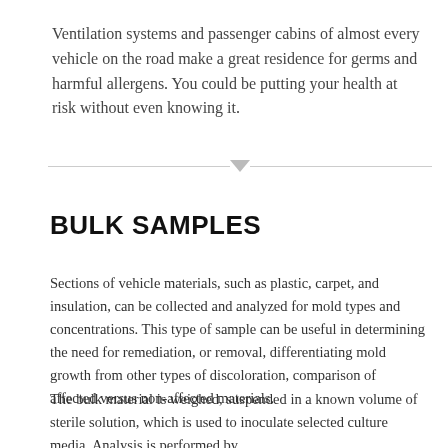Ventilation systems and passenger cabins of almost every vehicle on the road make a great residence for germs and harmful allergens. You could be putting your health at risk without even knowing it.
BULK SAMPLES
Sections of vehicle materials, such as plastic, carpet, and insulation, can be collected and analyzed for mold types and concentrations. This type of sample can be useful in determining the need for remediation, or removal, differentiating mold growth from other types of discoloration, comparison of affected versus non-affected materials.
The bulk material is weighed, suspended in a known volume of sterile solution, which is used to inoculate selected culture media. Analysis is performed by microscopic examination. The results are reported in